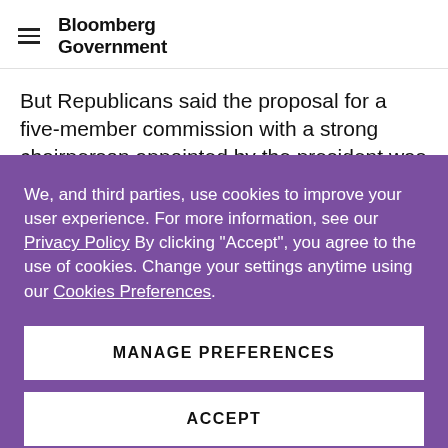Bloomberg Government
But Republicans said the proposal for a five-member commission with a strong chairperson appointed by the president was a formula for disaster. It would “turn the FEC into a partisan agency that would predictably
We, and third parties, use cookies to improve your user experience. For more information, see our Privacy Policy By clicking “Accept”, you agree to the use of cookies. Change your settings anytime using our Cookies Preferences.
MANAGE PREFERENCES
ACCEPT